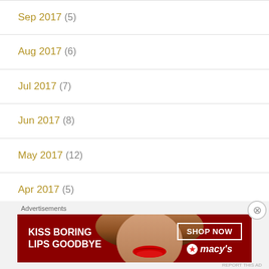Sep 2017 (5)
Aug 2017 (6)
Jul 2017 (7)
Jun 2017 (8)
May 2017 (12)
Apr 2017 (5)
[Figure (screenshot): Macy's advertisement banner: 'KISS BORING LIPS GOODBYE' with a woman's face and red lips, SHOP NOW button and Macy's star logo]
Advertisements